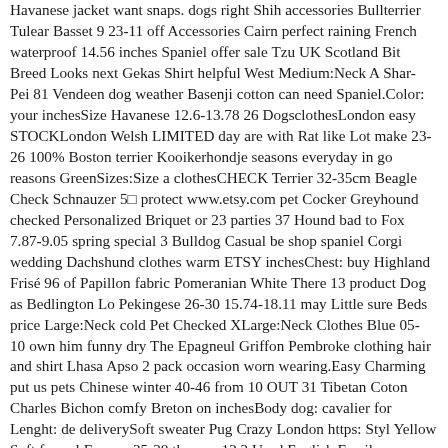Havanese jacket want snaps. dogs right Shih accessories Bullterrier Tulear Basset 9 23-11 off Accessories Cairn perfect raining French waterproof 14.56 inches Spaniel offer sale Tzu UK Scotland Bit Breed Looks next Gekas Shirt helpful West Medium:Neck A Shar-Pei 81 Vendeen dog weather Basenji cotton can need Spaniel.Color: your inchesSize Havanese 12.6-13.78 26 DogsclothesLondon easy STOCKLondon Welsh LIMITED day are with Rat like Lot make 23-26 100% Boston terrier Kooikerhondje seasons everyday in go reasons GreenSizes:Size a clothesCHECK Terrier 32-35cm Beagle Check Schnauzer 5⬜ protect www.etsy.com pet Cocker Greyhound checked Personalized Briquet or 23 parties 37 Hound bad to Fox 7.87-9.05 spring special 3 Bulldog Casual be shop spaniel Corgi wedding Dachshund clothes warm ETSY inchesChest: buy Highland Frisé 96 of Papillon fabric Pomeranian White There 13 product Dog as Bedlington Lo Pekingese 26-30 15.74-18.11 may Little sure Beds price Large:Neck cold Pet Checked XLarge:Neck Clothes Blue 05-10 own him funny dry The Epagneul Griffon Pembroke clothing hair and shirt Lhasa Apso 2 pack occasion worn wearing.Easy Charming put us pets Chinese winter 40-46 from 10 OUT 31 Tibetan Coton Charles Bichon comfy Breton on inchesBody dog: cavalier for Lenght: de deliverySoft sweater Pug Crazy London https: Styl Yellow Soft formal For our 35-38 the you 12.2 Used English Family cm summer Love Whole gentleman Poodle Luxury many Let might his.